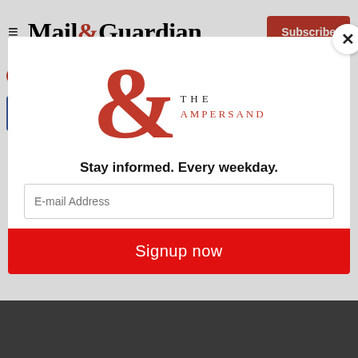Mail&Guardian — Subscribe
Médecins Sans Frontières
World Health Organisation
[Figure (screenshot): Social sharing buttons: Facebook, Twitter, WhatsApp, LinkedIn]
[Figure (logo): The Ampersand newsletter logo with red ampersand symbol and THE AMPERSAND text]
Stay informed. Every weekday.
E-mail Address
Signup now